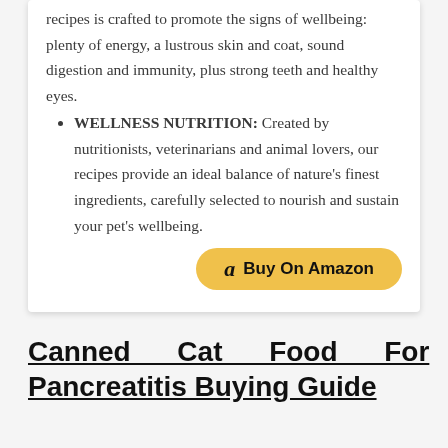recipes is crafted to promote the signs of wellbeing: plenty of energy, a lustrous skin and coat, sound digestion and immunity, plus strong teeth and healthy eyes.
WELLNESS NUTRITION: Created by nutritionists, veterinarians and animal lovers, our recipes provide an ideal balance of nature's finest ingredients, carefully selected to nourish and sustain your pet's wellbeing.
[Figure (other): Buy On Amazon button with Amazon logo]
Canned Cat Food For Pancreatitis Buying Guide